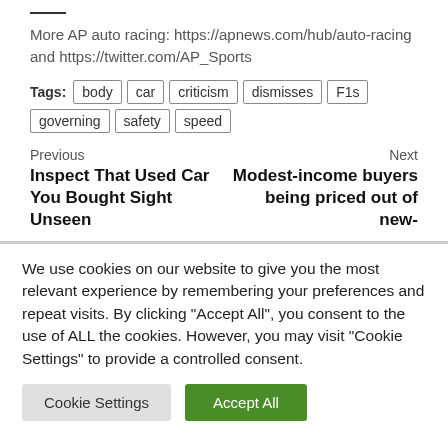More AP auto racing: https://apnews.com/hub/auto-racing and https://twitter.com/AP_Sports
Tags: body car criticism dismisses F1s governing safety speed
Previous
Inspect That Used Car You Bought Sight Unseen
Next
Modest-income buyers being priced out of new-
We use cookies on our website to give you the most relevant experience by remembering your preferences and repeat visits. By clicking "Accept All", you consent to the use of ALL the cookies. However, you may visit "Cookie Settings" to provide a controlled consent.